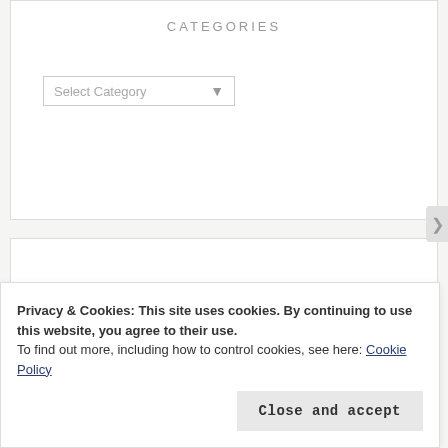CATEGORIES
Select Category ▾
RECENT COMMENTS
Privacy & Cookies: This site uses cookies. By continuing to use this website, you agree to their use.
To find out more, including how to control cookies, see here: Cookie Policy
Close and accept